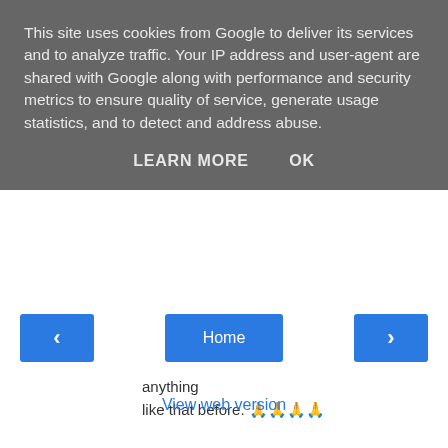This site uses cookies from Google to deliver its services and to analyze traffic. Your IP address and user-agent are shared with Google along with performance and security metrics to ensure quality of service, generate usage statistics, and to detect and address abuse.
LEARN MORE   OK
anything
like that before. 🙏🙏🙏🙏
Reply
Enter Comment
Home
View web version